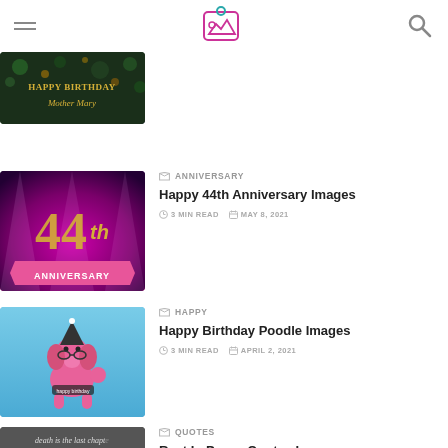Navigation header with hamburger menu, logo/image icon, and search icon
[Figure (photo): Partially visible thumbnail: dark background with colorful flowers, text 'Happy Birthday Mother Mary']
[Figure (photo): Pink and purple stage with spotlights, large gold '44th' text on pink ribbon reading 'ANNIVERSARY']
ANNIVERSARY
Happy 44th Anniversary Images
3 MIN READ   MAY 8, 2021
[Figure (photo): Pink toy poodle with birthday hat and glasses on blue sky background]
HAPPY
Happy Birthday Poodle Images
3 MIN READ   APRIL 2, 2021
[Figure (photo): Dark background with gray text: 'death is the last chapter in time, but the first chapter']
QUOTES
Rest In Peace Quotes Images
3 MIN READ   MAY 14, 2021